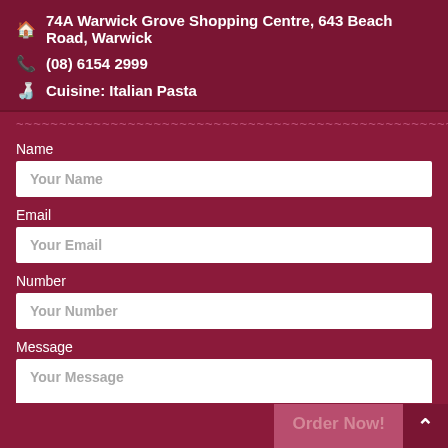🏠 74A Warwick Grove Shopping Centre, 643 Beach Road, Warwick
📞 (08) 6154 2999
🍸 Cuisine: Italian Pasta
~~~~~~~~~~~~~~~~~~~~~~~~~~~~~~~~~~~~~~~~~~~~~~~~~~~
Name
Your Name
Email
Your Email
Number
Your Number
Message
Order Now!
Your Message